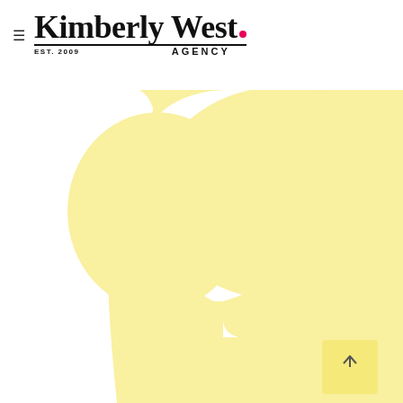[Figure (logo): Kimberly West Agency logo with hamburger menu icon. Script/serif font reads 'Kimberly West' with a pink dot, underlined, and 'EST. 2009' and 'AGENCY' in small caps below.]
[Figure (illustration): Large abstract yellow/cream colored silhouette shape — appears to be a stylized trophy or vase form with rounded top, narrowing waist, and wider base. A small lighter yellow square with an upward-pointing arrow icon appears in the lower-right area of the shape.]